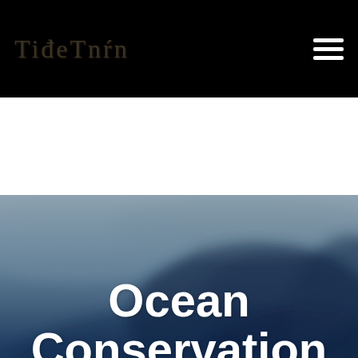TideTurn
[Figure (illustration): Ocean conservation hero image with dark blue smoky ink-in-water background effect, gradient from grey-blue at top to deep navy at bottom]
Ocean Conservation